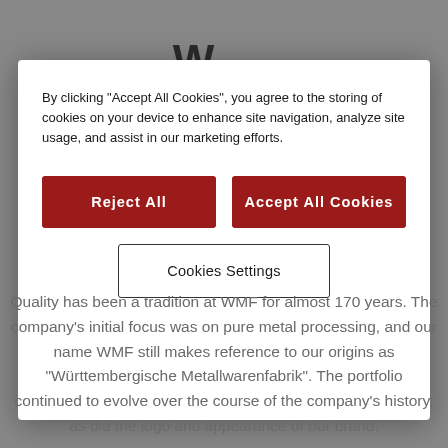[Figure (screenshot): Partially visible WMF website logo at top of page, dark letters on grey background]
By clicking "Accept All Cookies", you agree to the storing of cookies on your device to enhance site navigation, analyze site usage, and assist in our marketing efforts.
Reject All
Accept All Cookies
Cookies Settings
Quality has been a tradition at WMF for almost 170 years. The company's initial focus was on pure metal processing, and our name WMF still makes reference to our origins as "Württembergische Metallwarenfabrik". The portfolio continued to evolve over the course of the company's history, as did the logo and appearance of our brand.